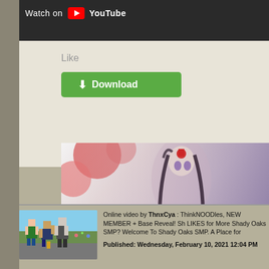[Figure (screenshot): YouTube video embed thumbnail showing 'Watch on YouTube' badge over a dark video screenshot]
Like
[Figure (screenshot): Green Download button with download arrow icon]
[Figure (illustration): Anime banner image showing a dark-haired anime girl character with red accessories, with ©HobbyJAPAN watermark and partial text 'Qu Li' visible]
[Figure (screenshot): Minecraft game screenshot showing blocky characters in a outdoor game environment]
Online video by ThnxCya : ThinkNOODles, NEW MEMBER + Base Reveal! Sh LIKES for More Shady Oaks SMP? Welcome To Shady Oaks SMP. A Place for
Published: Wednesday, February 10, 2021 12:04 PM